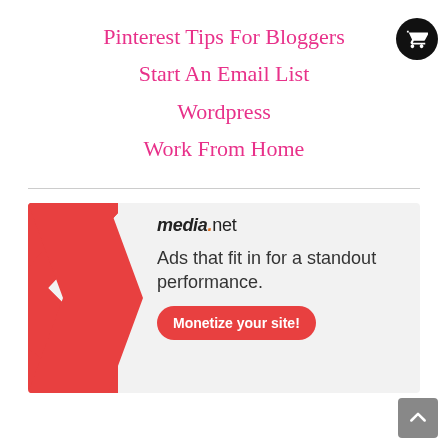Pinterest Tips For Bloggers
Start An Email List
Wordpress
Work From Home
[Figure (logo): Shopping cart icon in black circle]
[Figure (advertisement): media.net advertisement banner with red geometric shape, tagline 'Ads that fit in for a standout performance.' and Monetize your site button]
[Figure (other): Back to top arrow button]